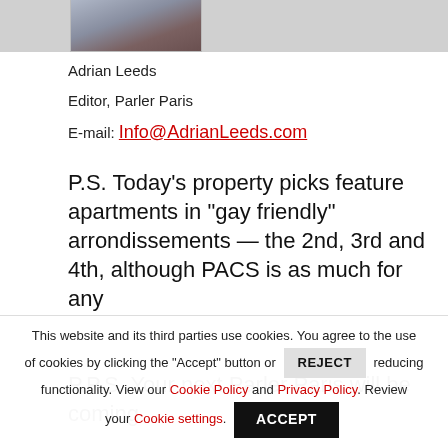[Figure (photo): Partial photo of a person, cropped at bottom, visible at top of page]
Adrian Leeds
Editor, Parler Paris
E-mail: Info@AdrianLeeds.com
P.S. Today’s property picks feature apartments in “gay friendly” arrondissements — the 2nd, 3rd and 4th, although PACS is as much for any
P.P.S. Your next Parler Paris will be coming
This website and its third parties use cookies. You agree to the use of cookies by clicking the "Accept" button or REJECT reducing functionality. View our Cookie Policy and Privacy Policy. Review your Cookie settings.